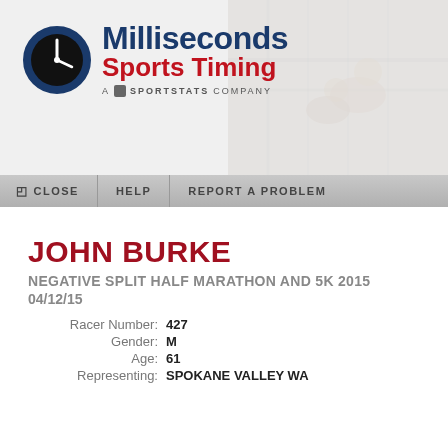[Figure (logo): Milliseconds Sports Timing logo with clock icon and text, A Sportstats Company tagline]
[Figure (photo): Faded background photo of cyclists racing]
CLOSE   HELP   REPORT A PROBLEM
JOHN BURKE
NEGATIVE SPLIT HALF MARATHON AND 5K 2015
04/12/15
Racer Number: 427
Gender: M
Age: 61
Representing: SPOKANE VALLEY WA